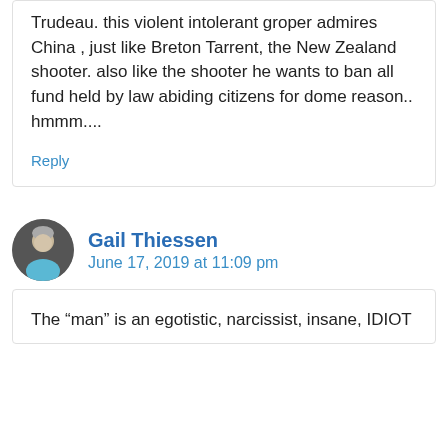Trudeau. this violent intolerant groper admires China , just like Breton Tarrent, the New Zealand shooter. also like the shooter he wants to ban all fund held by law abiding citizens for dome reason.. hmmm....
Reply
Gail Thiessen
June 17, 2019 at 11:09 pm
The “man” is an egotistic, narcissist, insane, IDIOT